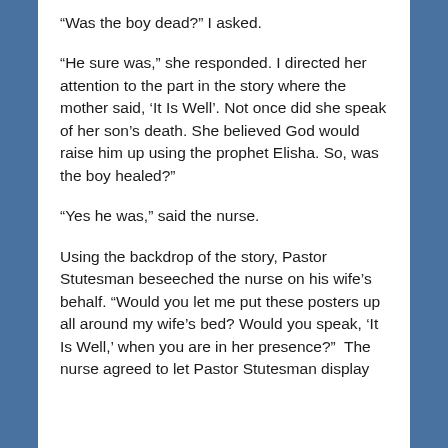“Was the boy dead?” I asked.
“He sure was,” she responded. I directed her attention to the part in the story where the mother said, ‘It Is Well’. Not once did she speak of her son’s death. She believed God would raise him up using the prophet Elisha. So, was the boy healed?”
“Yes he was,” said the nurse.
Using the backdrop of the story, Pastor Stutesman beseeched the nurse on his wife’s behalf. “Would you let me put these posters up all around my wife’s bed? Would you speak, ‘It Is Well,’ when you are in her presence?”  The nurse agreed to let Pastor Stutesman display